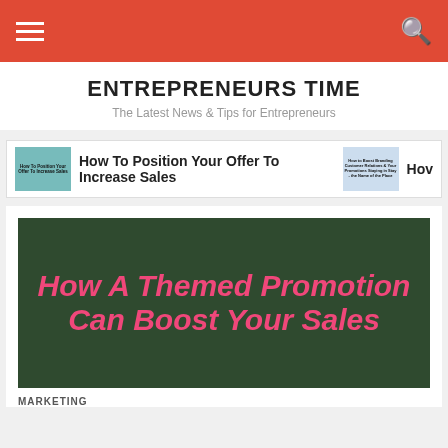ENTREPRENEURS TIME - The Latest News & Tips for Entrepreneurs
ENTREPRENEURS TIME
The Latest News & Tips for Entrepreneurs
[Figure (screenshot): Navigation slider bar showing 'How To Position Your Offer To Increase Sales' article with thumbnail images]
[Figure (illustration): Dark green background image with bold pink italic text reading 'How A Themed Promotion Can Boost Your Sales']
MARKETING